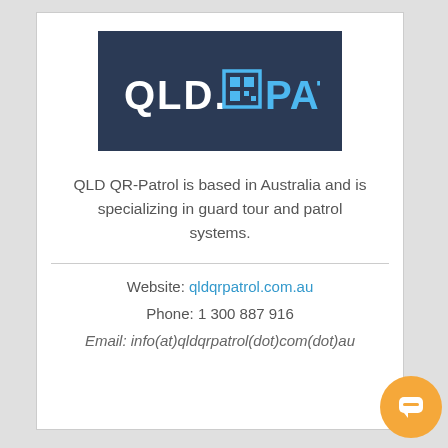[Figure (logo): QLD QR-Patrol logo on dark navy background. White blocky letters 'QLD.' followed by a QR-code icon square, then blue letters 'PATROL'.]
QLD QR-Patrol is based in Australia and is specializing in guard tour and patrol systems.
Website: qldqrpatrol.com.au
Phone: 1 300 887 916
Email: info(at)qldqrpatrol(dot)com(dot)au